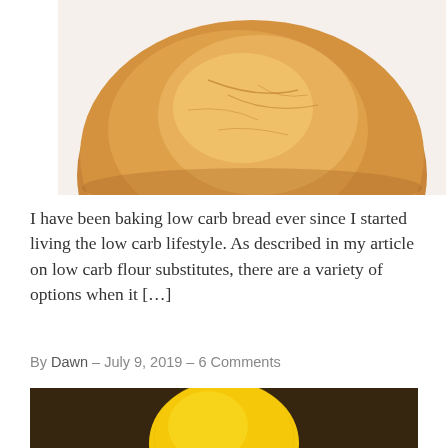[Figure (photo): Close-up photo of a round low carb bread loaf with golden brown crust, viewed from above against a white background]
I have been baking low carb bread ever since I started living the low carb lifestyle. As described in my article on low carb flour substitutes, there are a variety of options when it [...]
By Dawn – July 9, 2019 – 6 Comments
[Figure (photo): Photo of a yellow lemon on a dark wooden surface, partially visible at the bottom of the page]